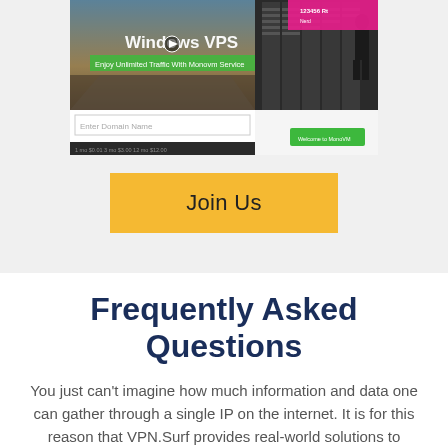[Figure (screenshot): Screenshot of a Windows VPS / Monovm website showing a dark hero image with text 'Windows VPS', 'Enjoy Unlimited Traffic With Monovm Service', an 'Enter Domain Name' text input, pricing info, and a 'Welcome to MonoVM' button on the right side.]
Join Us
Frequently Asked Questions
You just can't imagine how much information and data one can gather through a single IP on the internet. It is for this reason that VPN.Surf provides real-world solutions to problems and issues...